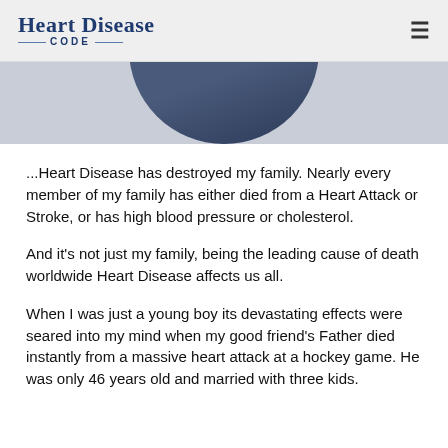Heart Disease CODE
[Figure (photo): Partial view of a person in a dark suit, visible from the shoulders up, cropped at top by the frame]
...Heart Disease has destroyed my family. Nearly every member of my family has either died from a Heart Attack or Stroke, or has high blood pressure or cholesterol.
And it's not just my family, being the leading cause of death worldwide Heart Disease affects us all.
When I was just a young boy its devastating effects were seared into my mind when my good friend's Father died instantly from a massive heart attack at a hockey game. He was only 46 years old and married with three kids.